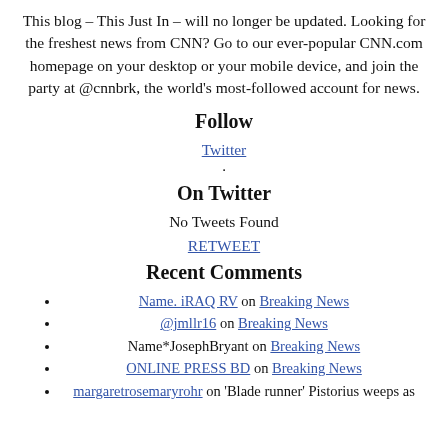This blog – This Just In – will no longer be updated. Looking for the freshest news from CNN? Go to our ever-popular CNN.com homepage on your desktop or your mobile device, and join the party at @cnnbrk, the world's most-followed account for news.
Follow
Twitter
.
On Twitter
No Tweets Found
RETWEET
Recent Comments
Name. iRAQ RV on Breaking News
@jmllr16 on Breaking News
Name*JosephBryant on Breaking News
ONLINE PRESS BD on Breaking News
margaretrosemaryrohr on 'Blade runner' Pistorius weeps as